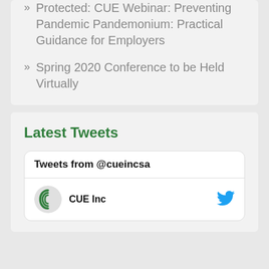Protected: CUE Webinar: Preventing Pandemic Pandemonium: Practical Guidance for Employers
Spring 2020 Conference to be Held Virtually
Latest Tweets
Tweets from @cueincsa
CUE Inc